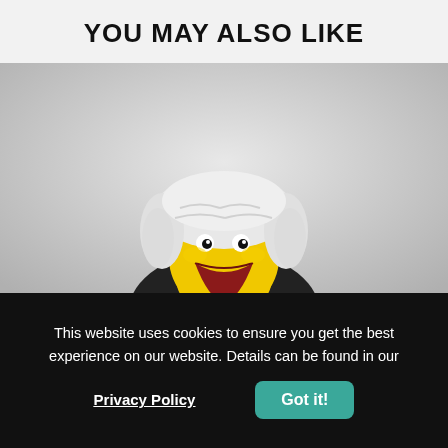YOU MAY ALSO LIKE
[Figure (photo): Close-up photo of a yellow rubber duck dressed as a judge or lawyer, wearing a white powdered wig and a black robe with white collar, against a light gray background.]
This website uses cookies to ensure you get the best experience on our website. Details can be found in our
Privacy Policy
Got it!